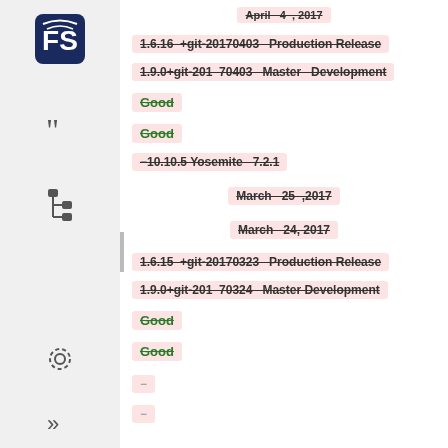April 4, 2017
1.6.16 +git-20170403 Production Release
1.9.0+git-201 70403 Master Development
Good
Good
-10.10.5 Yosemite 7.2.1
March 25, 2017
March 24, 2017
1.6.15 +git-20170323 Production Release
1.9.0+git-201 70324 Master Development
Good
Good
-
-